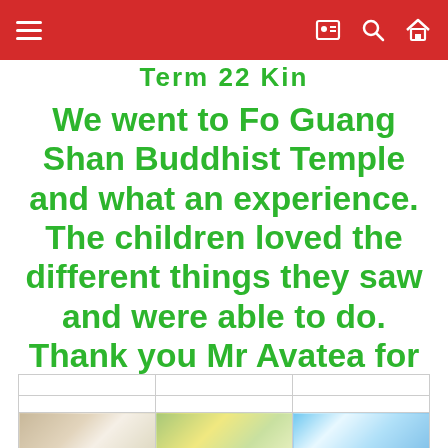Term 22 Kin
We went to Fo Guang Shan Buddhist Temple and what an experience. The children loved the different things they saw and were able to do. Thank you Mr Avatea for organising a wonderful trip.
[Figure (photo): Three photo thumbnails in a grid at the bottom of the page, partially visible. Left photo shows children with colorful decorations, middle shows green/yellow imagery, right shows blue outdoor scene.]